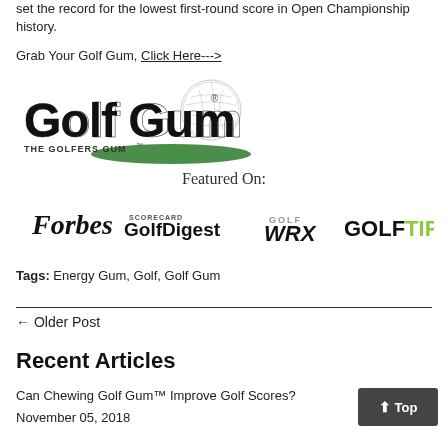set the record for the lowest first-round score in Open Championship history.
Grab Your Golf Gum, Click Here--->
[Figure (logo): Golf Gum logo — 'Golf Gum' in large bold text with a golf ball graphic and 'THE GOLFERS GUM' tagline beneath a green swoosh]
Featured On:
[Figure (logo): Media logos: Forbes, GolfDigest, Golf WRX, GolfTips]
Tags: Energy Gum, Golf, Golf Gum
← Older Post
Recent Articles
Can Chewing Golf Gum™ Improve Golf Scores?
November 05, 2018